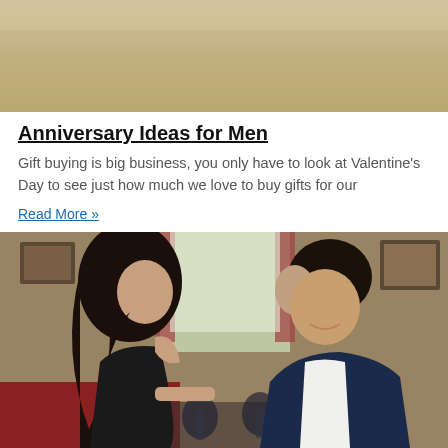[Figure (photo): Top portion of a photo showing a beige/cream colored background, appears to be cropped top of an image]
Anniversary Ideas for Men
Gift buying is big business, you only have to look at Valentine's Day to see just how much we love to buy gifts for our
Read More »
[Figure (photo): A young couple sitting at a restaurant table having dinner. A woman with long dark curly hair wearing a black dress and a man in a navy blue suit with white shirt, both holding wine glasses and smiling at each other. Restaurant interior with paintings on wall and curtains in background.]